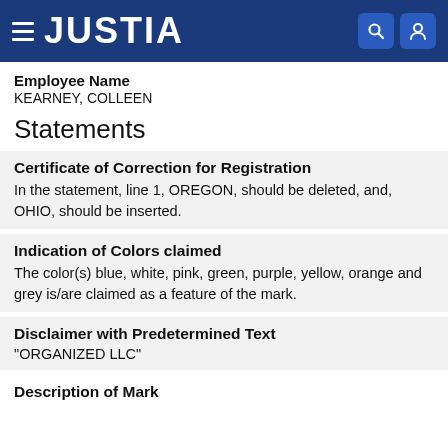JUSTIA
Employee Name
KEARNEY, COLLEEN
Statements
Certificate of Correction for Registration
In the statement, line 1, OREGON, should be deleted, and, OHIO, should be inserted.
Indication of Colors claimed
The color(s) blue, white, pink, green, purple, yellow, orange and grey is/are claimed as a feature of the mark.
Disclaimer with Predetermined Text
"ORGANIZED LLC"
Description of Mark